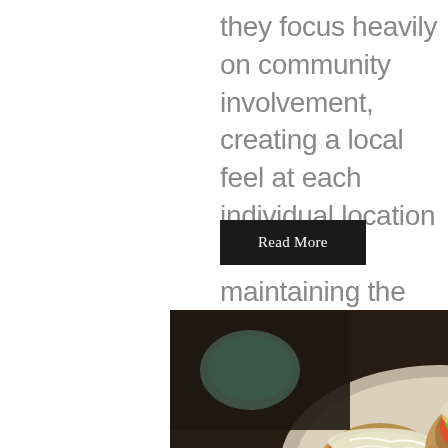they focus heavily on community involvement, creating a local feel at each individual location while still maintaining the highest of standards across...
Read More
[Figure (photo): Overhead view of tacos and a bowl with toppings including shredded cabbage, salsa, guacamole, and white drizzle sauce, served on a dark wooden table]